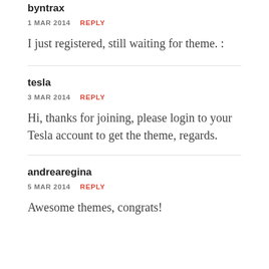byntrax
1 MAR 2014   REPLY
I just registered, still waiting for theme. :
tesla
3 MAR 2014   REPLY
Hi, thanks for joining, please login to your Tesla account to get the theme, regards.
andrearegina
5 MAR 2014   REPLY
Awesome themes, congrats!